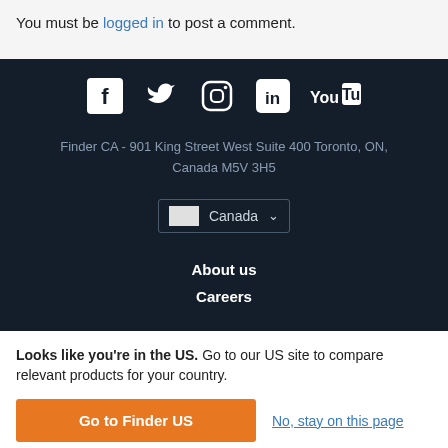You must be logged in to post a comment.
[Figure (other): Social media icons row: Facebook, Twitter, Instagram, LinkedIn, YouTube]
Finder CA - 901 King Street West Suite 400 Toronto, ON, Canada M5V 3H5
Canada (region selector dropdown)
About us
Careers
Looks like you're in the US. Go to our US site to compare relevant products for your country.
Go to Finder US
No, stay on this page